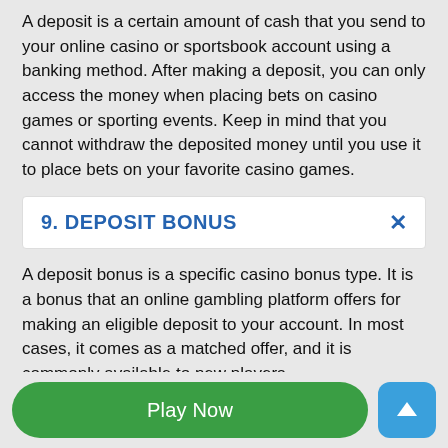A deposit is a certain amount of cash that you send to your online casino or sportsbook account using a banking method. After making a deposit, you can only access the money when placing bets on casino games or sporting events. Keep in mind that you cannot withdraw the deposited money until you use it to place bets on your favorite casino games.
9. DEPOSIT BONUS
A deposit bonus is a specific casino bonus type. It is a bonus that an online gambling platform offers for making an eligible deposit to your account. In most cases, it comes as a matched offer, and it is commonly available to new players.
[Figure (other): Green 'Play Now' button and blue upward arrow scroll-to-top button]